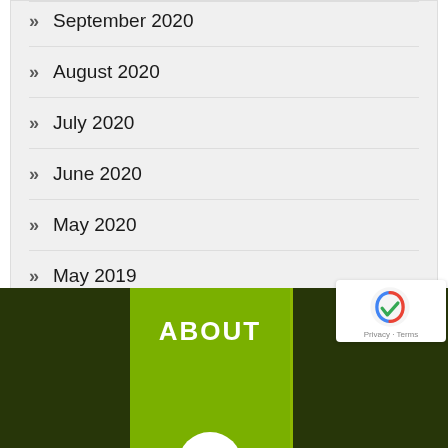September 2020
August 2020
July 2020
June 2020
May 2020
May 2019
February 2019
ABOUT
[Figure (logo): reCAPTCHA badge with Privacy and Terms text]